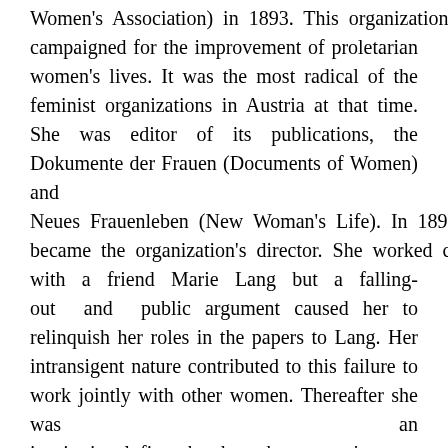Women's Association) in 1893. This organization campaigned for the improvement of proletarian women's lives. It was the most radical of the feminist organizations in Austria at that time. She was editor of its publications, the Dokumente der Frauen (Documents of Women) and Neues Frauenleben (New Woman's Life). In 1897 she became the organization's director. She worked closely with a friend Marie Lang but a falling-out and public argument caused her to relinquish her roles in the papers to Lang. Her intransigent nature contributed to this failure to work jointly with other women. Thereafter she was an inspirational figurehead to the women's movement in Austria.
Her close companion and friend through her adult life was Ida Baumann, also a teacher, who shared her early steps into political action and remained close to her all her life. Baumann avoided the limelight and did not